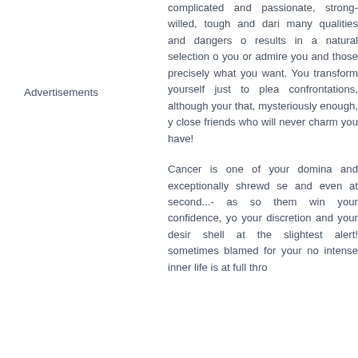Advertisements
complicated and passionate, strong-willed, tough and daring. The many qualities and dangers of results in a natural selection of you or admire you and those precisely what you want. You transform yourself just to please confrontations, although your that, mysteriously enough, you close friends who will never charm you have!
Cancer is one of your dominant and exceptionally shrewd se and even at second...- as so them win your confidence, you your discretion and your desire shell at the slightest alert! sometimes blamed for your no intense inner life is at full thro